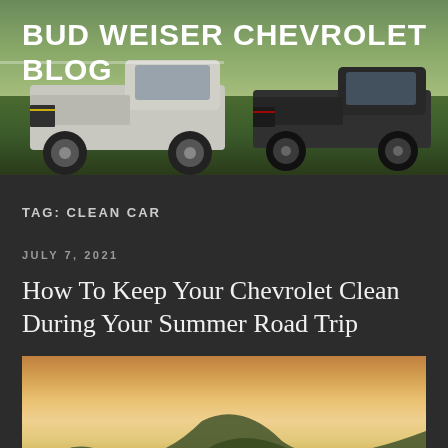[Figure (photo): Bud Weiser Chevrolet Blog header banner showing two Chevrolet pickup trucks (one silver/white on left, one dark on right) parked on grass with trees in background]
BUD WEISER CHEVROLET BLOG
TAG: CLEAN CAR
JULY 7, 2021
How To Keep Your Chevrolet Clean During Your Summer Road Trip
[Figure (photo): White Chevrolet SUV (Tahoe) driving on a winding road with rolling hills and a golden sunset sky in the background]